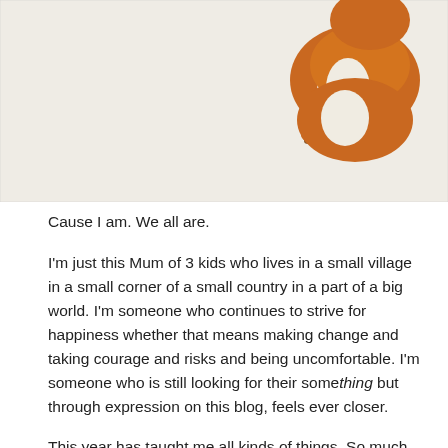[Figure (illustration): Partial illustration of an orange and white guinea pig or small animal, shown against a light beige background. Only the lower portion of the animal is visible at the top right of the image area.]
Cause I am. We all are.
I'm just this Mum of 3 kids who lives in a small village in a small corner of a small country in a part of a big world. I'm someone who continues to strive for happiness whether that means making change and taking courage and risks and being uncomfortable. I'm someone who is still looking for their something but through expression on this blog, feels ever closer.
This year has taught me all kinds of things. So much about myself and what I am capable of. I still cannot believe that I had a baby, that I gave birth the way that I did. I've learnt that the brain and mind are the biggest parts of our body that need to be exercised. Sure our bodies keep us strong and doing all the